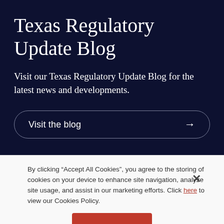Texas Regulatory Update Blog
Visit our Texas Regulatory Update Blog for the latest news and developments.
Visit the blog →
By clicking “Accept All Cookies”, you agree to the storing of cookies on your device to enhance site navigation, analyze site usage, and assist in our marketing efforts. Click here to view our Cookies Policy.